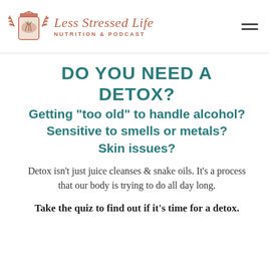[Figure (logo): Less Stressed Life Nutrition & Podcast logo with illustrated mason jar and botanical elements]
DO YOU NEED A DETOX?
Getting "too old" to handle alcohol? Sensitive to smells or metals? Skin issues?
Detox isn't just juice cleanses & snake oils. It's a process that our body is trying to do all day long.
Take the quiz to find out if it's time for a detox.